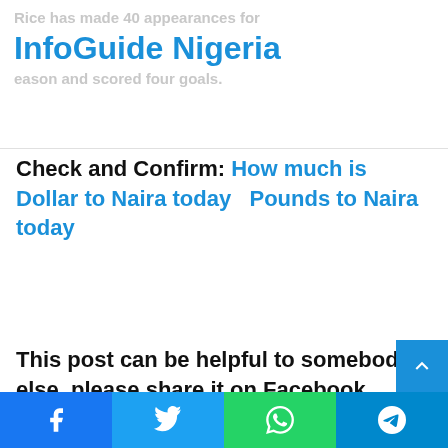Rice has made 40 appearances for InfoGuide Nigeria eason and scored four goals.
Check and Confirm: How much is Dollar to Naira today   Pounds to Naira today
This post can be helpful to somebody else, please share it on Facebook, Whatsapp, Telegram and Twitter. The are buttons below for this (easy to use
Facebook | Twitter | WhatsApp | Telegram